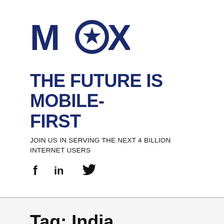[Figure (logo): MOX logo in dark navy blue — bold letters M, O (with a star inside), X]
THE FUTURE IS MOBILE-FIRST
JOIN US IN SERVING THE NEXT 4 BILLION INTERNET USERS
[Figure (illustration): Social media icons: Facebook (f), LinkedIn (in), Twitter (bird)]
Tag: India